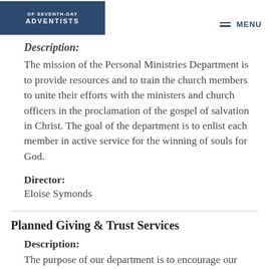OF SEVENTH-DAY ADVENTISTS | MENU
Description:
The mission of the Personal Ministries Department is to provide resources and to train the church members to unite their efforts with the ministers and church officers in the proclamation of the gospel of salvation in Christ. The goal of the department is to enlist each member in active service for the winning of souls for God.
Director:
Eloise Symonds
Planned Giving & Trust Services
Description:
The purpose of our department is to encourage our church members and others to continue to support God's work through wills, annuities, trusts, and charitable...